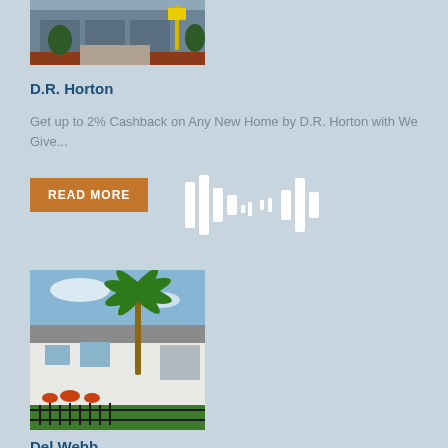[Figure (photo): Partial view of a D.R. Horton home exterior with yellow sign and landscaping]
D.R. Horton
Get up to 2% Cashback on Any New Home by D.R. Horton with We Give...
READ MORE
[Figure (photo): Del Webb community home exterior with palm tree, white stucco wall, and black iron fence]
Del Webb